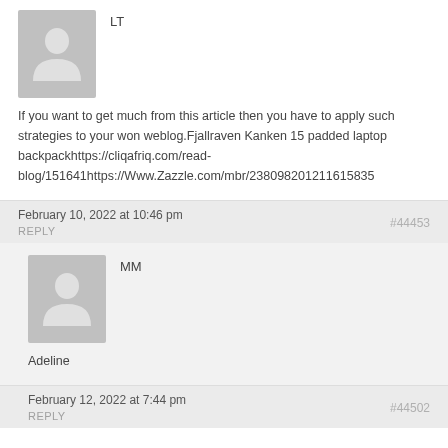LT
[Figure (illustration): Generic user avatar placeholder - grey silhouette of a person on grey background]
If you want to get much from this article then you have to apply such strategies to your won weblog.Fjallraven Kanken 15 padded laptop backpackhttps://cliqafriq.com/read-blog/151641https://Www.Zazzle.com/mbr/238098201211615835
February 10, 2022 at 10:46 pm
#44453
REPLY
MM
[Figure (illustration): Generic user avatar placeholder - grey silhouette of a person on grey background]
Adeline
February 12, 2022 at 7:44 pm
#44502
REPLY